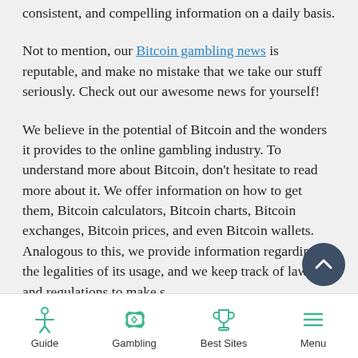consistent, and compelling information on a daily basis.
Not to mention, our Bitcoin gambling news is reputable, and make no mistake that we take our stuff seriously. Check out our awesome news for yourself!
We believe in the potential of Bitcoin and the wonders it provides to the online gambling industry. To understand more about Bitcoin, don't hesitate to read more about it. We offer information on how to get them, Bitcoin calculators, Bitcoin charts, Bitcoin exchanges, Bitcoin prices, and even Bitcoin wallets. Analogous to this, we provide information regarding the legalities of its usage, and we keep track of laws and regulations to make sure we give everybody a heads up when dealing with Bitcoin gambling sites.
Guide | Gambling | Best Sites | Menu